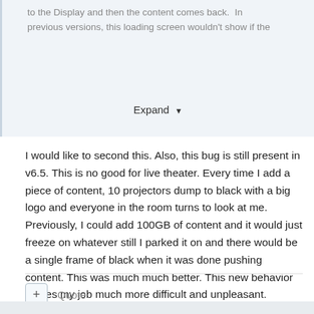to the Display and then the content comes back.  In previous versions, this loading screen wouldn't show if the
Expand ▾
I would like to second this. Also, this bug is still present in v6.5. This is no good for live theater. Every time I add a piece of content, 10 projectors dump to black with a big logo and everyone in the room turns to look at me. Previously, I could add 100GB of content and it would just freeze on whatever still I parked it on and there would be a single frame of black when it was done pushing content. This was much much better. This new behavior makes my job much more difficult and unpleasant. Please put it back to the way it was for years. Thank you.
Quote